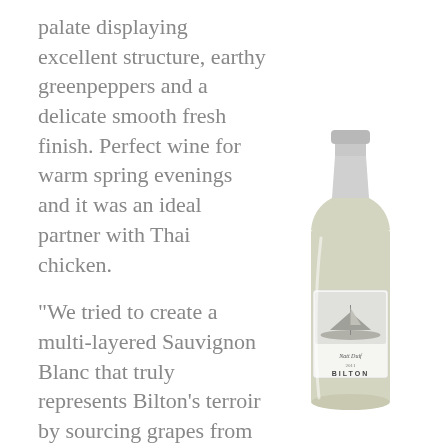palate displaying excellent structure, earthy greenpeppers and a delicate smooth fresh finish. Perfect wine for warm spring evenings and it was an ideal partner with Thai chicken.
“We tried to create a multi-layered Sauvignon Blanc that truly represents Bilton’s terroir by sourcing grapes from various vineyards and using different yeasts. In this way we created
[Figure (photo): A bottle of Bilton Sauvignon Blanc white wine with a white label featuring a sailing ship illustration and the Bilton winery branding, silver capsule on top.]